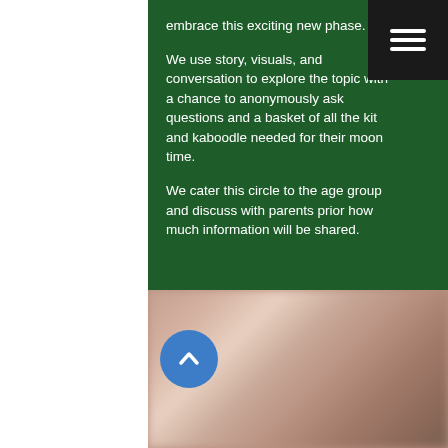embrace this exciting new phase.
We use story, visuals, and conversation to explore the topic with a chance to anonymously ask questions and a basket of all the kit and kaboodle needed for their moon time.
We cater this circle to the age group and discuss with parents prior how much information will be shared.
[Figure (photo): Blurred photo of people, partially visible in the lower portion of the page]